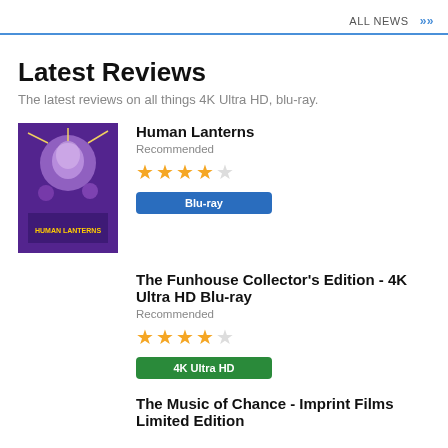ALL NEWS »
Latest Reviews
The latest reviews on all things 4K Ultra HD, blu-ray.
Human Lanterns
Recommended
★★★★☆ Blu-ray
The Funhouse Collector's Edition - 4K Ultra HD Blu-ray
Recommended
★★★★☆ 4K Ultra HD
The Music of Chance - Imprint Films Limited Edition